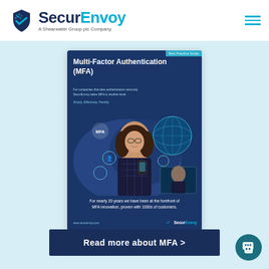[Figure (logo): SecurEnvoy logo with shield/hashtag icon and text 'A Shearwater Group plc Company']
[Figure (illustration): SecurEnvoy MFA brochure cover showing a woman with glasses smiling, holding a phone, surrounded by circular MFA icons, globe graphic, and text about Multi-Factor Authentication]
For nearly 20 years we have been at the forefront of MFA innovation, proven with 1000s of customers.
Read more about MFA >